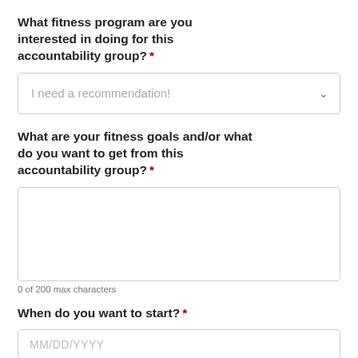What fitness program are you interested in doing for this accountability group? *
I need a recommendation! [dropdown]
What are your fitness goals and/or what do you want to get from this accountability group? *
[textarea]
0 of 200 max characters
When do you want to start? *
MM/DD/YYYY [date input]